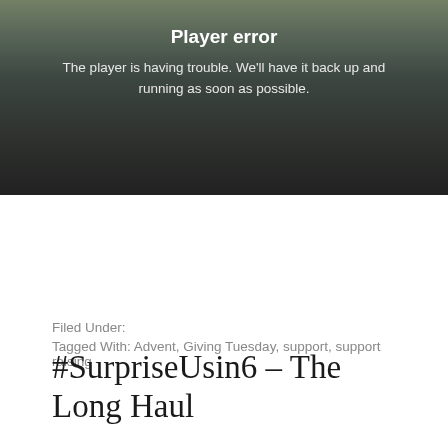[Figure (screenshot): Video player error screen with dark blurred background showing a person, displaying 'Player error' title and error message text in white]
Filed Under:
Tagged With: Advent, Giving Tuesday, support, support raising
#SurpriseUsin6 – The Long Haul